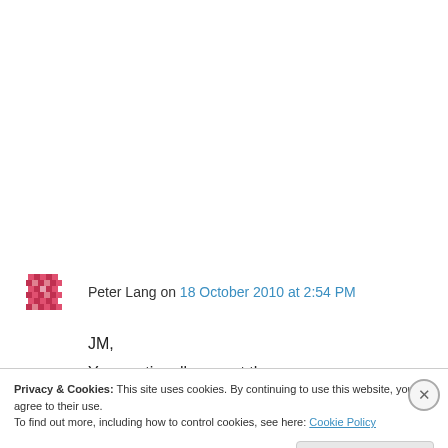Peter Lang on 18 October 2010 at 2:54 PM
JM,
You continually repeat the same wrong statements despite having been told by several people including me. You don't understand. You
Privacy & Cookies: This site uses cookies. By continuing to use this website, you agree to their use.
To find out more, including how to control cookies, see here: Cookie Policy